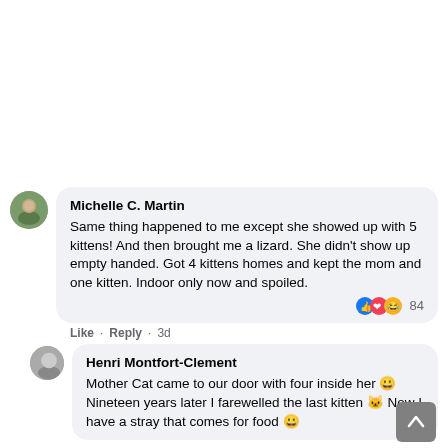Michelle C. Martin
Same thing happened to me except she showed up with 5 kittens! And then brought me a lizard. She didn't show up empty handed. Got 4 kittens homes and kept the mom and one kitten. Indoor only now and spoiled.
Like · Reply · 3d · 84 reactions
Henri Montfort-Clement
Mother Cat came to our door with four inside her 😀 Nineteen years later I farewelled the last kitten 🐱 Now I have a stray that comes for food 😀